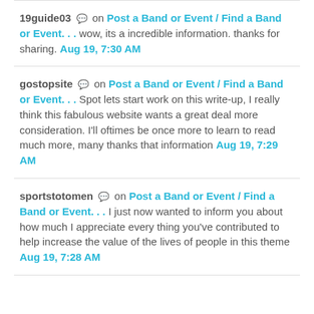19guide03 💬 on Post a Band or Event / Find a Band or Event. . . wow, its a incredible information. thanks for sharing. Aug 19, 7:30 AM
gostopsite 💬 on Post a Band or Event / Find a Band or Event. . . Spot lets start work on this write-up, I really think this fabulous website wants a great deal more consideration. I'll oftimes be once more to learn to read much more, many thanks that information Aug 19, 7:29 AM
sportstotomen 💬 on Post a Band or Event / Find a Band or Event. . . I just now wanted to inform you about how much I appreciate every thing you've contributed to help increase the value of the lives of people in this theme Aug 19, 7:28 AM